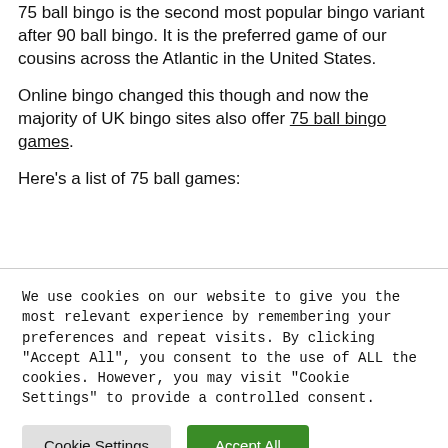75 ball bingo is the second most popular bingo variant after 90 ball bingo. It is the preferred game of our cousins across the Atlantic in the United States.
Online bingo changed this though and now the majority of UK bingo sites also offer 75 ball bingo games.
Here's a list of 75 ball games:
We use cookies on our website to give you the most relevant experience by remembering your preferences and repeat visits. By clicking "Accept All", you consent to the use of ALL the cookies. However, you may visit "Cookie Settings" to provide a controlled consent.